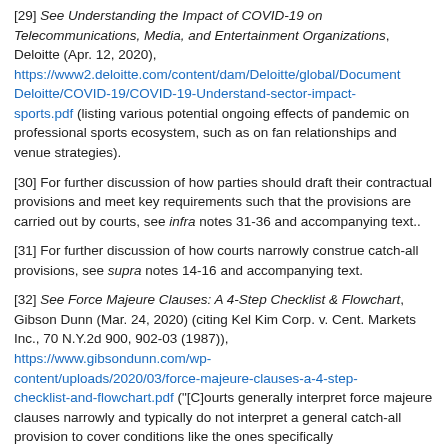[29] See Understanding the Impact of COVID-19 on Telecommunications, Media, and Entertainment Organizations, Deloitte (Apr. 12, 2020), https://www2.deloitte.com/content/dam/Deloitte/global/Document Deloitte/COVID-19/COVID-19-Understand-sector-impact-sports.pdf (listing various potential ongoing effects of pandemic on professional sports ecosystem, such as on fan relationships and venue strategies).
[30] For further discussion of how parties should draft their contractual provisions and meet key requirements such that the provisions are carried out by courts, see infra notes 31-36 and accompanying text..
[31] For further discussion of how courts narrowly construe catch-all provisions, see supra notes 14-16 and accompanying text.
[32] See Force Majeure Clauses: A 4-Step Checklist & Flowchart, Gibson Dunn (Mar. 24, 2020) (citing Kel Kim Corp. v. Cent. Markets Inc., 70 N.Y.2d 900, 902-03 (1987)), https://www.gibsondunn.com/wp-content/uploads/2020/03/force-majeure-clauses-a-4-step-checklist-and-flowchart.pdf ("[C]ourts generally interpret force majeure clauses narrowly and typically do not interpret a general catch-all provision to cover conditions like the ones specifically...